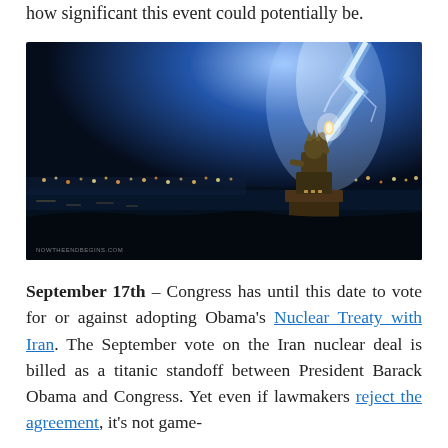how significant this event could potentially be.
[Figure (photo): Dramatic nighttime photograph of the Statue of Liberty with a large lightning bolt striking or passing behind/above the statue's torch. City lights reflected on the water in the background. The sky is dark blue and electric. Watermark reads 'NOWTHEENDBEGINS.COM' in the lower left corner.]
September 17th – Congress has until this date to vote for or against adopting Obama's Nuclear Treaty with Iran. The September vote on the Iran nuclear deal is billed as a titanic standoff between President Barack Obama and Congress. Yet even if lawmakers reject the agreement, it's not game-